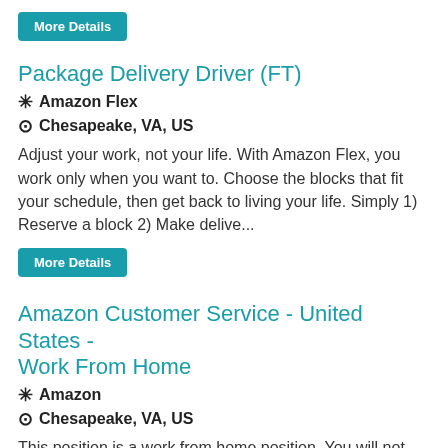More Details
Package Delivery Driver (FT)
⚙ Amazon Flex
⊙ Chesapeake, VA, US
Adjust your work, not your life. With Amazon Flex, you work only when you want to. Choose the blocks that fit your schedule, then get back to living your life. Simply 1) Reserve a block 2) Make delive...
More Details
Amazon Customer Service - United States - Work From Home
⚙ Amazon
⊙ Chesapeake, VA, US
This position is a work from home position. You will not need to come into the office. No Experience Needed.